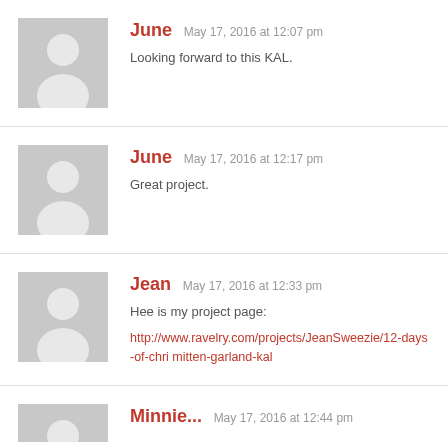June  May 17, 2016 at 12:07 pm
Looking forward to this KAL.
June  May 17, 2016 at 12:17 pm
Great project.
Jean  May 17, 2016 at 12:33 pm
Hee is my project page:

http://www.ravelry.com/projects/JeanSweezie/12-days-of-chri mitten-garland-kal
Minnie... May 17, 2016 at 12:44 pm